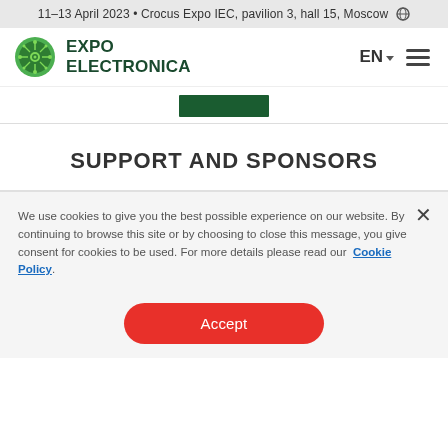11–13 April 2023 • Crocus Expo IEC, pavilion 3, hall 15, Moscow
[Figure (logo): Expo Electronica logo with green circuit-board circle icon and bold dark green text EXPO ELECTRONICA]
[Figure (other): Dark green rectangle button/tab below navigation]
SUPPORT AND SPONSORS
We use cookies to give you the best possible experience on our website. By continuing to browse this site or by choosing to close this message, you give consent for cookies to be used. For more details please read our Cookie Policy.
Accept